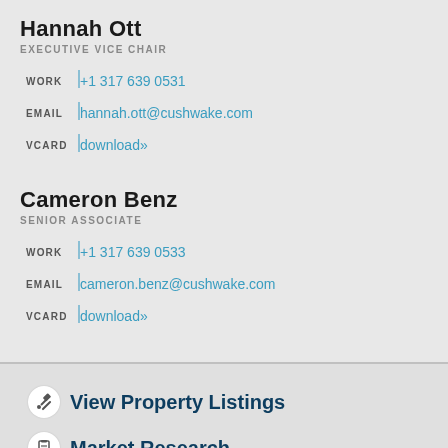Hannah Ott
EXECUTIVE VICE CHAIR
WORK +1 317 639 0531
EMAIL hannah.ott@cushwake.com
VCARD download»
Cameron Benz
SENIOR ASSOCIATE
WORK +1 317 639 0533
EMAIL cameron.benz@cushwake.com
VCARD download»
View Property Listings
Market Research